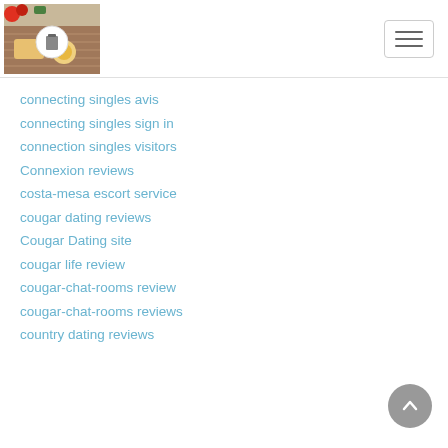[Figure (logo): Website logo with food/cookbook image and circular badge]
[Figure (other): Hamburger menu button (three horizontal lines)]
connecting singles avis
connecting singles sign in
connection singles visitors
Connexion reviews
costa-mesa escort service
cougar dating reviews
Cougar Dating site
cougar life review
cougar-chat-rooms review
cougar-chat-rooms reviews
country dating reviews
[Figure (other): Scroll-to-top button (circle with upward chevron)]